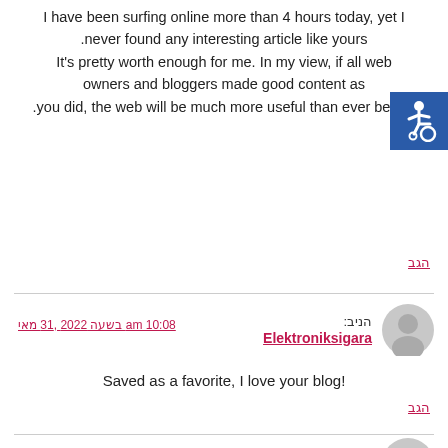I have been surfing online more than 4 hours today, yet I never found any interesting article like yours. It's pretty worth enough for me. In my view, if all web owners and bloggers made good content as you did, the web will be much more useful than ever before.
[Figure (illustration): Blue square accessibility icon with wheelchair symbol in white]
הגב
הניב: Elektroniksigara | מאי 31, 2022 בשעה 10:08 am
Saved as a favorite, I love your blog!
הגב
הניב: guclubirbloq | מאי 30, 2022 בשעה 3:24 pm
Hello there! I could have sworn I've visited this web site before but after looking at many of the posts I realized it's